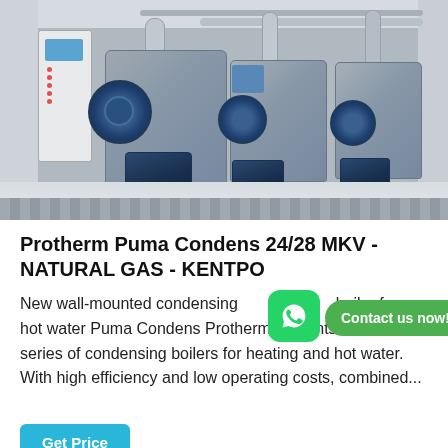[Figure (photo): Industrial boiler room with three wall-mounted condensing boilers (silver/blue) with blue fans and burners, yellow support legs, control panels, and piping. White floor and light gray walls.]
Protherm Puma Condens 24/28 MKV - NATURAL GAS - KENTPO
New wall-mounted condensing boiler for hot water Puma Condens Protherm presents the new series of condensing boilers for heating and hot water. With high efficiency and low operating costs, combined...